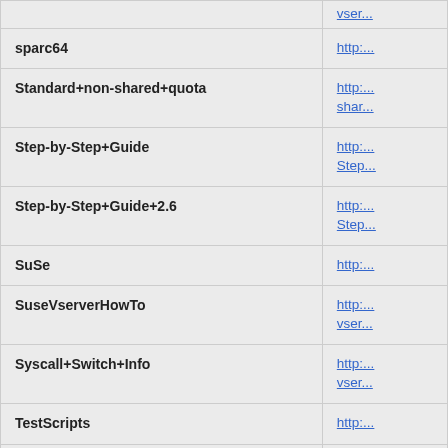| Name | Link |
| --- | --- |
| (partial row) | vser... |
| sparc64 | http:... |
| Standard+non-shared+quota | http:... shar... |
| Step-by-Step+Guide | http:... Step... |
| Step-by-Step+Guide+2.6 | http:... Step... |
| SuSe | http:... |
| SuseVserverHowTo | http:... vser... |
| Syscall+Switch+Info | http:... vser... |
| TestScripts | http:... |
| TestWorkingPrograms | http:... vser... |
| The+XMas+Wishlist | http:... |